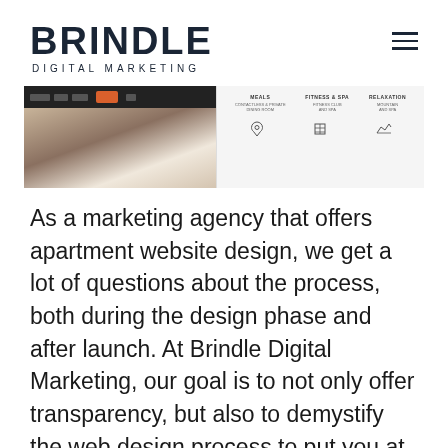BRINDLE DIGITAL MARKETING
[Figure (screenshot): Screenshot of an apartment website design showing a dark navigation bar with an orange button on the left side, and a property listing with icons on the right side.]
As a marketing agency that offers apartment website design, we get a lot of questions about the process, both during the design phase and after launch. At Brindle Digital Marketing, our goal is to not only offer transparency, but also to demystify the web design process to put you at ease. We've put